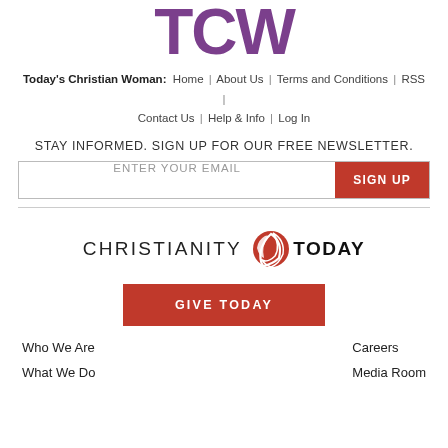[Figure (logo): TCW (Today's Christian Woman) logo in purple/violet large bold letters]
Today's Christian Woman: Home | About Us | Terms and Conditions | RSS | Contact Us | Help & Info | Log In
STAY INFORMED. SIGN UP FOR OUR FREE NEWSLETTER.
ENTER YOUR EMAIL  [SIGN UP button]
[Figure (logo): Christianity Today logo with red circular icon and text CHRISTIANITY TODAY]
GIVE TODAY
Who We Are
What We Do
Careers
Media Room